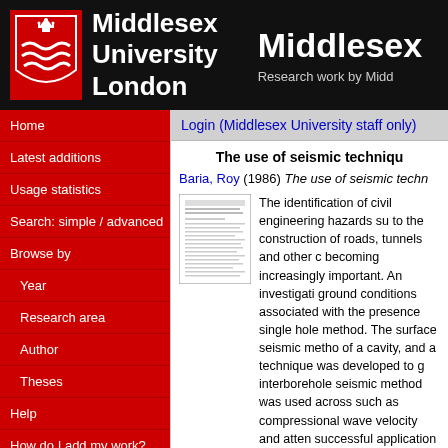Middlesex University London — Middlesex — Research work by Midd
Home
Latest additions
Usage statistics
Search: simple / advanced
Browse by
Year
Research area
Author
Theses
Help
How do I add my work?
Repository FAQs
Login (Middlesex University staff only)
The use of seismic techniqu
Baria, Roy (1986) The use of seismic techn
[Figure (screenshot): Thumbnail image of the document page]
The identification of civil engineering hazards su to the construction of roads, tunnels and other c becoming increasingly important. An investigati ground conditions associated with the presence single hole method. The surface seismic metho of a cavity, and a technique was developed to g interborehole seismic method was used across such as compressional wave velocity and atten successful application of the technique is dem